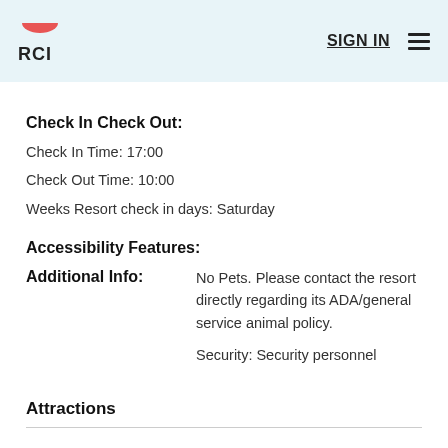RCI  SIGN IN
Check In Check Out:
Check In Time: 17:00
Check Out Time: 10:00
Weeks Resort check in days: Saturday
Accessibility Features:
Additional Info:
No Pets. Please contact the resort directly regarding its ADA/general service animal policy.

Security: Security personnel
Attractions